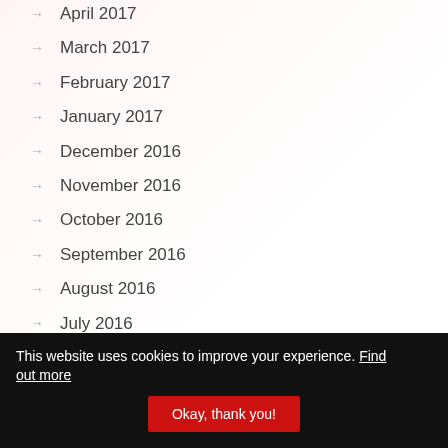→ April 2017
→ March 2017
→ February 2017
→ January 2017
→ December 2016
→ November 2016
→ October 2016
→ September 2016
→ August 2016
→ July 2016
This website uses cookies to improve your experience. Find out more  Okay, thank you!